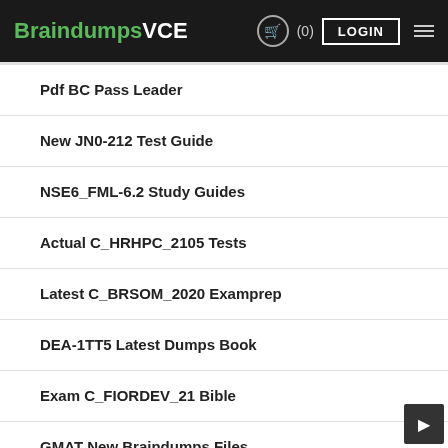BraindumpsVCE (0) LOGIN
Pdf BC Pass Leader
New JN0-212 Test Guide
NSE6_FML-6.2 Study Guides
Actual C_HRHPC_2105 Tests
Latest C_BRSOM_2020 Examprep
DEA-1TT5 Latest Dumps Book
Exam C_FIORDEV_21 Bible
GMAT New Braindumps Files
C-SACP-2208 Clearer Explanation